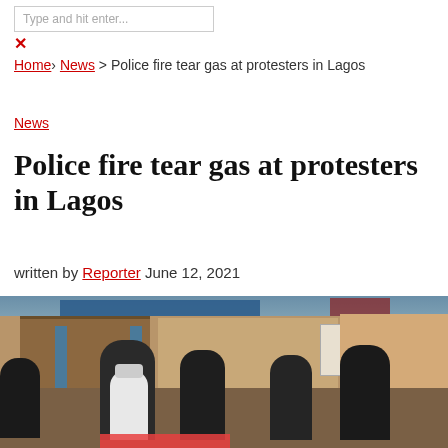Type and hit enter...
×
Home › News › Police fire tear gas at protesters in Lagos
News
Police fire tear gas at protesters in Lagos
written by Reporter June 12, 2021
[Figure (photo): Protesters gathered on a street in Lagos, Nigeria, with buildings in the background. People are standing on the road, some wearing masks and holding a red banner. Blue pillars and a multi-story building are visible.]